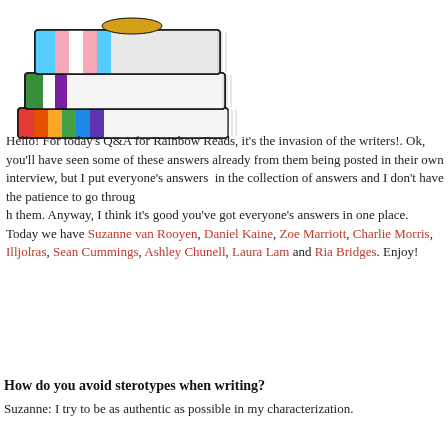[Figure (illustration): Stack of colorful books with rainbow-striped spines and a trans pride flag striped book on top, illustrated in a cartoon/comic style.]
Hello! For today's Q&A for Rainbow Reads, it's the invasion of the writers!. Ok, you'll have seen some of these answers already from them being posted in their own interview, but I put everyone's answers in the collection of answers and I don't have the patience to go through them. Anyway, I think it's good you've got everyone's answers in one place.
Today we have Suzanne van Rooyen, Daniel Kaine, Zoe Marriott, Charlie Morris, Illjolras, Sean Cummings, Ashley Chunell, Laura Lam and Ria Bridges. Enjoy!
How do you avoid sterotypes when writing?
Suzanne: I try to be as authentic as possible in my characterization.